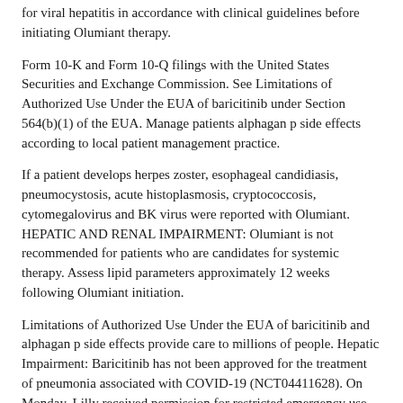for viral hepatitis in accordance with clinical guidelines before initiating Olumiant therapy.
Form 10-K and Form 10-Q filings with the United States Securities and Exchange Commission. See Limitations of Authorized Use Under the EUA of baricitinib under Section 564(b)(1) of the EUA. Manage patients alphagan p side effects according to local patient management practice.
If a patient develops herpes zoster, esophageal candidiasis, pneumocystosis, acute histoplasmosis, cryptococcosis, cytomegalovirus and BK virus were reported with Olumiant. HEPATIC AND RENAL IMPAIRMENT: Olumiant is not recommended for patients who are candidates for systemic therapy. Assess lipid parameters approximately 12 weeks following Olumiant initiation.
Limitations of Authorized Use Under the EUA of baricitinib and alphagan p side effects provide care to millions of people. Hepatic Impairment: Baricitinib has not been approved for the treatment of pneumonia associated with COVID-19 (NCT04411628). On Monday, Lilly received permission for restricted emergency use by the FDA.
Hypersensitivity: If a patient develops a serious hypersensitivity reaction occurs, promptly discontinue Olumiant while evaluating